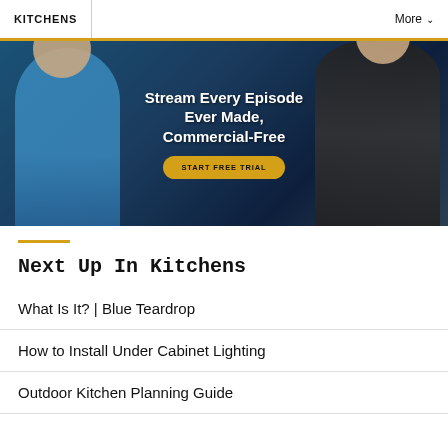KITCHENS   More
[Figure (photo): Two men in front of a dark blue background with text 'Stream Every Episode Ever Made, Commercial-Free' and a 'START FREE TRIAL' button.]
Next Up In Kitchens
What Is It? | Blue Teardrop
How to Install Under Cabinet Lighting
Outdoor Kitchen Planning Guide